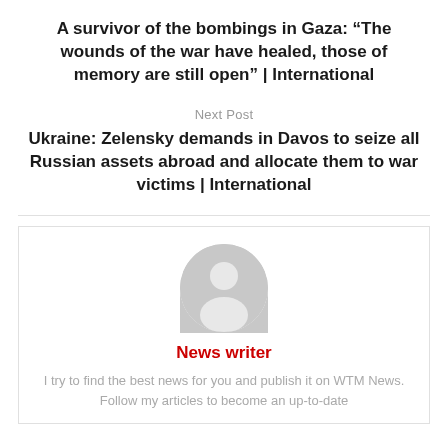A survivor of the bombings in Gaza: “The wounds of the war have healed, those of memory are still open” | International
Next Post
Ukraine: Zelensky demands in Davos to seize all Russian assets abroad and allocate them to war victims | International
[Figure (illustration): Gray placeholder avatar icon showing a generic person silhouette (head and shoulders) inside a circle]
News writer
I try to find the best news for you and publish it on WTM News. Follow my articles to become an up-to-date